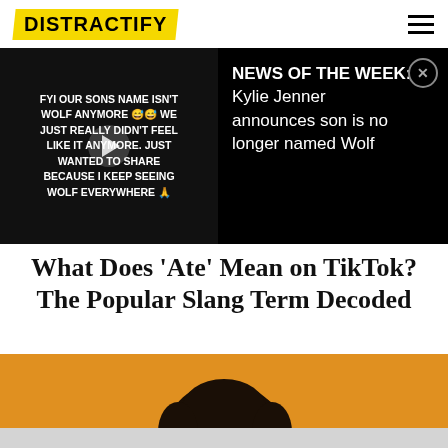DISTRACTIFY
[Figure (screenshot): News banner with two panels: left panel shows TikTok video text 'FYI OUR SONS NAME ISN'T WOLF ANYMORE 😅😅 WE JUST REALLY DIDN'T FEEL LIKE IT ANYMORE. JUST WANTED TO SHARE BECAUSE I KEEP SEEING WOLF EVERYWHERE 🙏' with play button overlay; right panel shows text 'NEWS OF THE WEEK: Kylie Jenner announces son is no longer named Wolf' with close button]
What Does 'Ate' Mean on TikTok? The Popular Slang Term Decoded
[Figure (photo): Woman with curly dark hair smiling and holding a yellow phone, photographed against an orange/amber background]